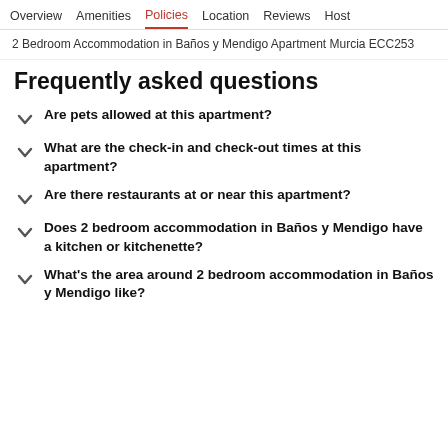Overview  Amenities  Policies  Location  Reviews  Host
2 Bedroom Accommodation in Baños y Mendigo Apartment Murcia ECC253
Frequently asked questions
Are pets allowed at this apartment?
What are the check-in and check-out times at this apartment?
Are there restaurants at or near this apartment?
Does 2 bedroom accommodation in Baños y Mendigo have a kitchen or kitchenette?
What's the area around 2 bedroom accommodation in Baños y Mendigo like?